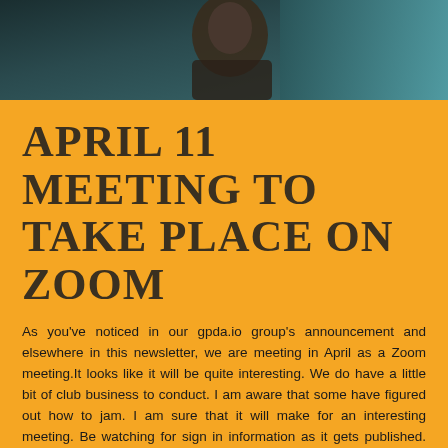[Figure (photo): Partial photo of a person at the top of the page, dark teal/blue-green background with a figure wearing dark clothing]
APRIL 11 MEETING TO TAKE PLACE ON ZOOM
As you've noticed in our gpda.io group's announcement and elsewhere in this newsletter, we are meeting in April as a Zoom meeting.It looks like it will be quite interesting. We do have a little bit of club business to conduct. I am aware that some have figured out how to jam. I am sure that it will make for an interesting meeting. Be watching for sign in information as it gets published. We are experiencing odd times. The ll...f...ht t...b...f...r...